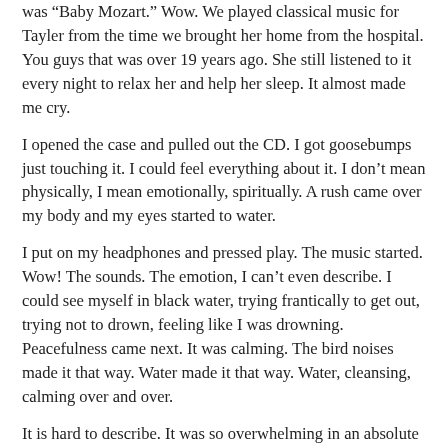was “Baby Mozart.” Wow. We played classical music for Tayler from the time we brought her home from the hospital. You guys that was over 19 years ago. She still listened to it every night to relax her and help her sleep. It almost made me cry.
I opened the case and pulled out the CD. I got goosebumps just touching it. I could feel everything about it. I don’t mean physically, I mean emotionally, spiritually. A rush came over my body and my eyes started to water.
I put on my headphones and pressed play. The music started. Wow! The sounds. The emotion, I can’t even describe. I could see myself in black water, trying frantically to get out, trying not to drown, feeling like I was drowning. Peacefulness came next. It was calming. The bird noises made it that way. Water made it that way. Water, cleansing, calming over and over.
It is hard to describe. It was so overwhelming in an absolute good way.
This CD, hands down, is the best gift I have ever received. It was exactly what I needed when I needed it. My friend is so thoughtful.
You may be wondering what I am talking about. First I have to explain.
Her name is Rebecca. I call her Breckie. We have been friends for a long time. Online friends. That’s how our friendship started, I think in 2007. We were both in a workout forum and that’s how we met. Fast friends to